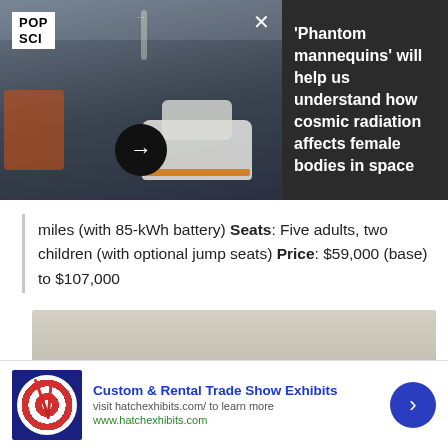[Figure (photo): Top banner split: left side shows a POP SCI branded photo of a person working with spacecraft/mannequin equipment in an industrial setting, with three-dots menu and X close button. Right side is a dark gray panel with article title text.]
'Phantom mannequins' will help us understand how cosmic radiation affects female bodies in space
miles (with 85-kWh battery) Seats: Five adults, two children (with optional jump seats) Price: $59,000 (base) to $107,000
[Figure (photo): Photo of a red sedan car driving on a road with dry grassland and pale sky in background.]
Custom & Rental Trade Show Exhibits
visit hatchexhibits.com/ to learn more
www.hatchexhibits.com